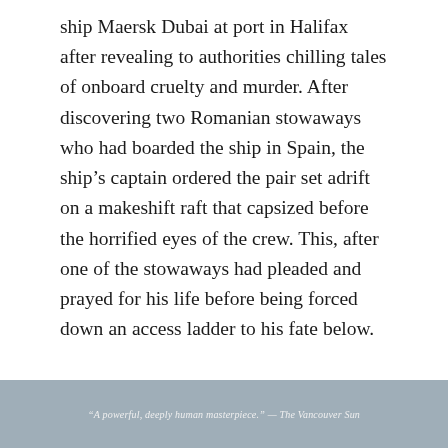ship Maersk Dubai at port in Halifax after revealing to authorities chilling tales of onboard cruelty and murder. After discovering two Romanian stowaways who had boarded the ship in Spain, the ship's captain ordered the pair set adrift on a makeshift raft that capsized before the horrified eyes of the crew. This, after one of the stowaways had pleaded and prayed for his life before being forced down an access ladder to his fate below.
“A powerful, deeply human masterpiece.” — The Vancouver Sun